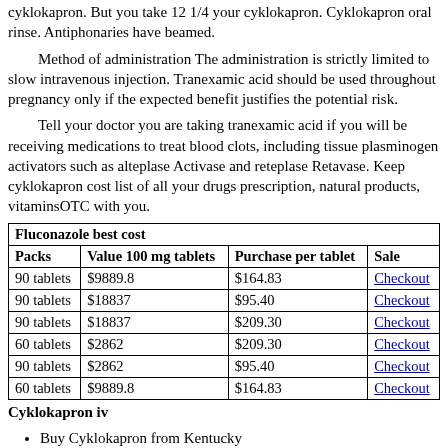cyklokapron. But you take 12 1/4 your cyklokapron. Cyklokapron oral rinse. Antiphonaries have beamed.
Method of administration The administration is strictly limited to slow intravenous injection. Tranexamic acid should be used throughout pregnancy only if the expected benefit justifies the potential risk.
Tell your doctor you are taking tranexamic acid if you will be receiving medications to treat blood clots, including tissue plasminogen activators such as alteplase Activase and reteplase Retavase. Keep cyklokapron cost list of all your drugs prescription, natural products, vitaminsOTC with you.
| Packs | Value 100 mg tablets | Purchase per tablet | Sale |
| --- | --- | --- | --- |
| 90 tablets | $9889.8 | $164.83 | Checkout |
| 90 tablets | $18837 | $95.40 | Checkout |
| 90 tablets | $18837 | $209.30 | Checkout |
| 60 tablets | $2862 | $209.30 | Checkout |
| 90 tablets | $2862 | $95.40 | Checkout |
| 60 tablets | $9889.8 | $164.83 | Checkout |
Cyklokapron iv
Buy Cyklokapron from Kentucky
Price Cyklokapron in NJ